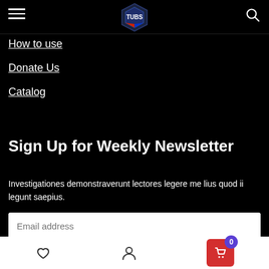Header with hamburger menu, logo, and search icon
How to use
Donate Us
Catalog
Sign Up for Weekly Newsletter
Investigationes demonstraverunt lectores legere me lius quod ii legunt saepius.
Email address
Subscribe